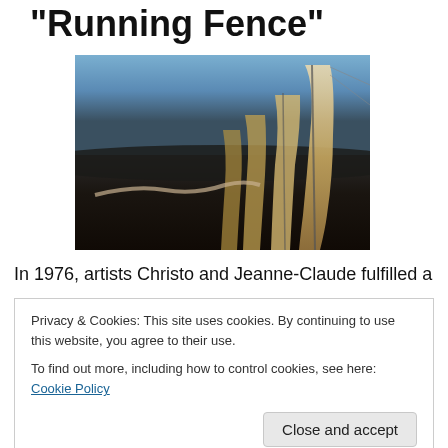"Running Fence"
[Figure (photo): Photograph of Christo and Jeanne-Claude's Running Fence artwork at dusk, showing large white fabric panels undulating across a dark landscape with a bluish sky.]
In 1976, artists Christo and Jeanne-Claude fulfilled a
Privacy & Cookies: This site uses cookies. By continuing to use this website, you agree to their use.
To find out more, including how to control cookies, see here: Cookie Policy
Close and accept